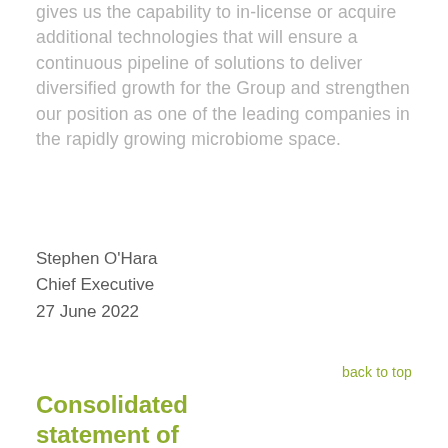gives us the capability to in-license or acquire additional technologies that will ensure a continuous pipeline of solutions to deliver diversified growth for the Group and strengthen our position as one of the leading companies in the rapidly growing microbiome space.
Stephen O'Hara
Chief Executive
27 June 2022
back to top
Consolidated statement of comprehensive income